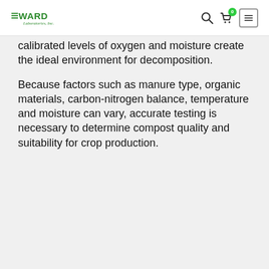WARD Laboratories, Inc. — navigation header
calibrated levels of oxygen and moisture create the ideal environment for decomposition.
Because factors such as manure type, organic materials, carbon-nitrogen balance, temperature and moisture can vary, accurate testing is necessary to determine compost quality and suitability for crop production.